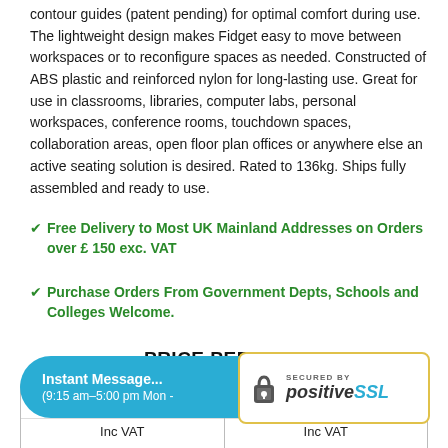contour guides (patent pending) for optimal comfort during use. The lightweight design makes Fidget easy to move between workspaces or to reconfigure spaces as needed. Constructed of ABS plastic and reinforced nylon for long-lasting use. Great for use in classrooms, libraries, computer labs, personal workspaces, conference rooms, touchdown spaces, collaboration areas, open floor plan offices or anywhere else an active seating solution is desired. Rated to 136kg. Ships fully assembled and ready to use.
Free Delivery to Most UK Mainland Addresses on Orders over £ 150 exc. VAT
Purchase Orders From Government Depts, Schools and Colleges Welcome.
PRICE PER ITEM
| Inc VAT | when you buy 3 + ... Inc VAT |
| --- | --- |
[Figure (other): Instant Message chat bubble overlay with text 'Instant Message... (9:15 am-5:00 pm Mon -']
[Figure (logo): Secured by PositiveSSL badge with padlock icon]